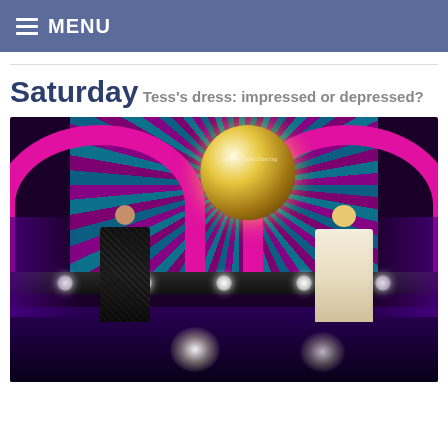MENU
Saturday
Tess's dress: impressed or depressed?
[Figure (photo): Two women standing on the Strictly Come Dancing stage. The woman on the left wears a dark sequined strapless gown. The woman on the right (Tess Daly) wears a cream/white fitted dress. The stage features a large disco ball, magenta arches, colourful LED lighting and stage spotlights.]